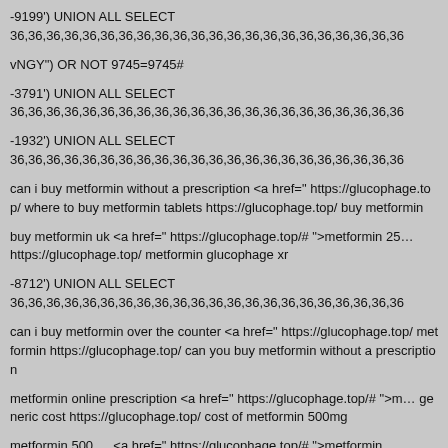-9199') UNION ALL SELECT
36,36,36,36,36,36,36,36,36,36,36,36,36,36,36,36,36,36,36,36,36,36,36,36,36,36,36,36,36,36,36,36,3…
vNGY") OR NOT 9745=9745#
-3791') UNION ALL SELECT
36,36,36,36,36,36,36,36,36,36,36,36,36,36,36,36,36,36,36,36,36,36,36,36,36,36,36,36,36,36,36,36,3…
-1932') UNION ALL SELECT
36,36,36,36,36,36,36,36,36,36,36,36,36,36,36,36,36,36,36,36,36,36,36,36,36,36,36,36,36,36,36,36,3…
can i buy metformin without a prescription <a href=" https://glucophage.top/ where to buy metformin tablets https://glucophage.top/ buy metformin…
buy metformin uk <a href=" https://glucophage.top/# ">metformin 25… https://glucophage.top/ metformin glucophage xr
-8712') UNION ALL SELECT
36,36,36,36,36,36,36,36,36,36,36,36,36,36,36,36,36,36,36,36,36,36,36,36,36,36,36,36,36,36,36,36,3…
can i buy metformin over the counter <a href=" https://glucophage.top/ metformin https://glucophage.top/ can you buy metformin without a p…
metformin online prescription <a href=" https://glucophage.top/# ">m… generic cost https://glucophage.top/ cost of metformin 500mg
metformin 500 … <a href=" https://glucophage.top/# ">metformin…